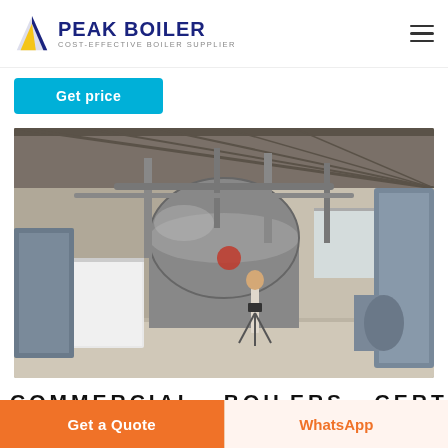PEAK BOILER — COST-EFFECTIVE BOILER SUPPLIER
[Figure (other): Get price button (cyan/blue)]
[Figure (photo): Industrial boiler room with large cylindrical boilers, pipes, and a person with a camera tripod standing inside a factory facility.]
COMMERCIAL  BOILERS  CERTIFICATION
Get a Quote | WhatsApp